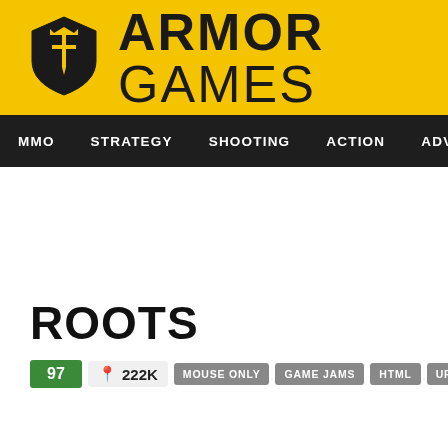[Figure (logo): Armor Games logo — yellow header with shield icon and ARMOR GAMES text]
MMO  STRATEGY  SHOOTING  ACTION  ADVENTURE  P
ROOTS
97  222K  MOUSE ONLY  GAME JAMS  HTML  UPGRADE  ACTION